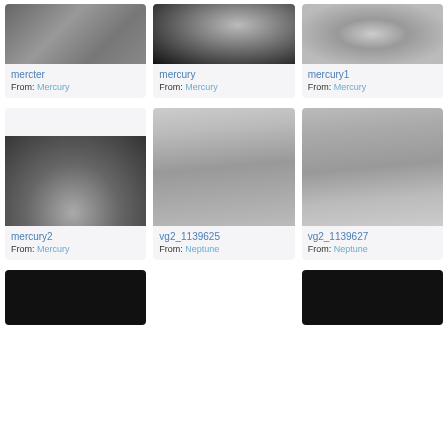[Figure (photo): Grayscale planetary surface image - mercter (Mercury)]
mercter
From: Mercury
[Figure (photo): Grayscale planetary surface image - mercury (Mercury)]
mercury
From: Mercury
[Figure (photo): Grayscale cratered surface image - mercury1 (Mercury)]
mercury1
From: Mercury
[Figure (photo): Grayscale planetary image - mercury2 (Mercury)]
mercury2
From: Mercury
[Figure (photo): Grayscale surface texture image - vg2_1139625 (Neptune)]
vg2_1139625
From: Neptune
[Figure (photo): Grayscale surface texture image - vg2_1139627 (Neptune)]
vg2_1139627
From: Neptune
[Figure (photo): Partial dark planetary image bottom row left]
[Figure (photo): Partial dark planetary image bottom row right]